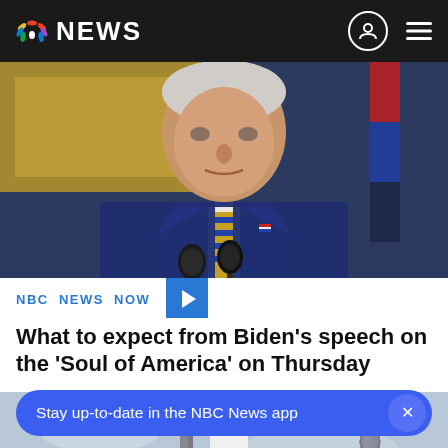NBC NEWS
[Figure (photo): President Biden speaking at a podium with two microphones, wearing a dark blue suit and yellow-striped tie, with an ornate room visible in the background]
NBC NEWS NOW
What to expect from Biden's speech on the 'Soul of America' on Thursday
[Figure (photo): Rocket on a launch pad against a grey sky, with a tall metal tower visible on the right]
Stay up-to-date in the NBC News app